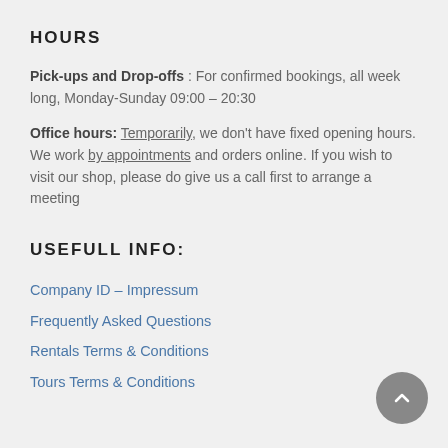HOURS
Pick-ups and Drop-offs : For confirmed bookings, all week long, Monday-Sunday 09:00 – 20:30
Office hours: Temporarily, we don't have fixed opening hours. We work by appointments and orders online. If you wish to visit our shop, please do give us a call first to arrange a meeting
USEFULL INFO:
Company ID – Impressum
Frequently Asked Questions
Rentals Terms & Conditions
Tours Terms & Conditions